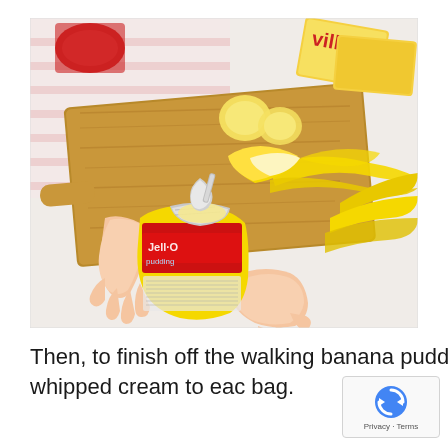[Figure (photo): Hands holding an open pudding snack pack with a spoon, with a wooden cutting board, peeled bananas, banana slices, and Nilla wafer packages visible in the background on a white surface with a pink striped cloth.]
Then, to finish off the walking banana pudding, add the pudding and whipped cream to each bag.